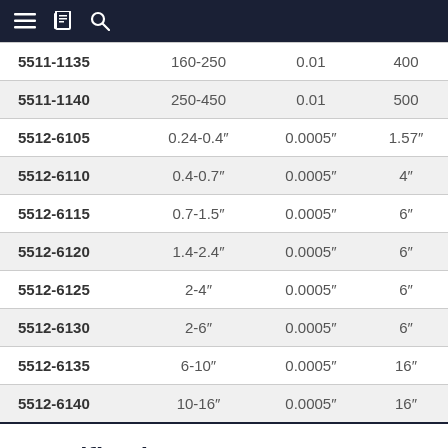menu, book, search icons
| 5511-1135 | 160-250 | 0.01 | 400 |
| 5511-1140 | 250-450 | 0.01 | 500 |
| 5512-6105 | 0.24-0.4" | 0.0005" | 1.57" |
| 5512-6110 | 0.4-0.7" | 0.0005" | 4" |
| 5512-6115 | 0.7-1.5" | 0.0005" | 6" |
| 5512-6120 | 1.4-2.4" | 0.0005" | 6" |
| 5512-6125 | 2-4" | 0.0005" | 6" |
| 5512-6130 | 2-6" | 0.0005" | 6" |
| 5512-6135 | 6-10" | 0.0005" | 16" |
| 5512-6140 | 10-16" | 0.0005" | 16" |
Specifications